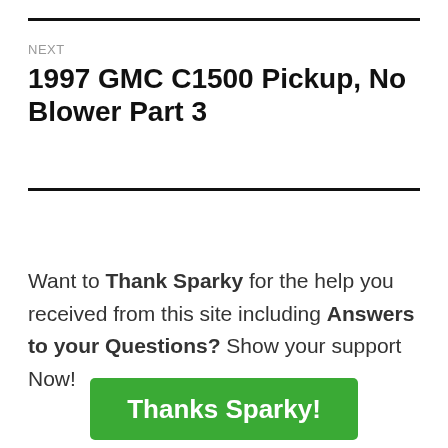NEXT
1997 GMC C1500 Pickup, No Blower Part 3
Want to Thank Sparky for the help you received from this site including Answers to your Questions? Show your support Now!
Thanks Sparky!